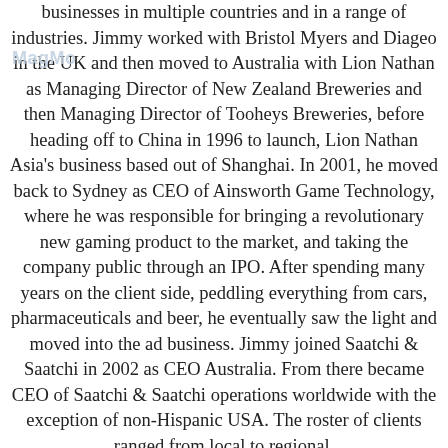businesses in multiple countries and in a range of industries. Jimmy worked with Bristol Myers and Diageo in the UK and then moved to Australia with Lion Nathan as Managing Director of New Zealand Breweries and then Managing Director of Tooheys Breweries, before heading off to China in 1996 to launch, Lion Nathan Asia's business based out of Shanghai. In 2001, he moved back to Sydney as CEO of Ainsworth Game Technology, where he was responsible for bringing a revolutionary new gaming product to the market, and taking the company public through an IPO. After spending many years on the client side, peddling everything from cars, pharmaceuticals and beer, he eventually saw the light and moved into the ad business. Jimmy joined Saatchi & Saatchi in 2002 as CEO Australia. From there became CEO of Saatchi & Saatchi operations worldwide with the exception of non-Hispanic USA. The roster of clients ranged from local to regional,